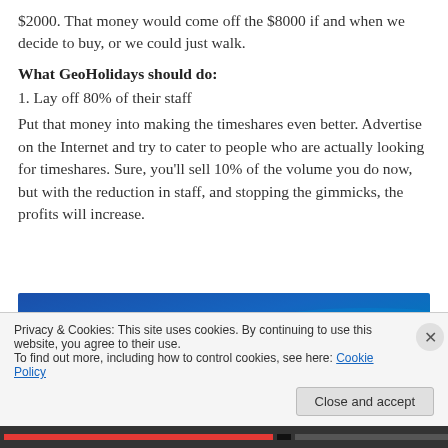$2000. That money would come off the $8000 if and when we decide to buy, or we could just walk.
What GeoHolidays should do:
1. Lay off 80% of their staff
Put that money into making the timeshares even better. Advertise on the Internet and try to cater to people who are actually looking for timeshares. Sure, you'll sell 10% of the volume you do now, but with the reduction in staff, and stopping the gimmicks, the profits will increase.
[Figure (screenshot): WordPress.com advertisement banner with blue gradient background and pink button]
Privacy & Cookies: This site uses cookies. By continuing to use this website, you agree to their use.
To find out more, including how to control cookies, see here: Cookie Policy
Close and accept